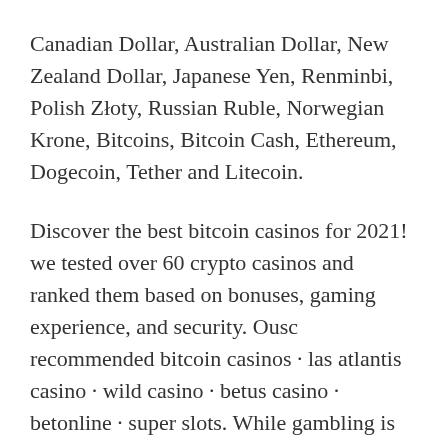Canadian Dollar, Australian Dollar, New Zealand Dollar, Japanese Yen, Renminbi, Polish Złoty, Russian Ruble, Norwegian Krone, Bitcoins, Bitcoin Cash, Ethereum, Dogecoin, Tether and Litecoin.
Discover the best bitcoin casinos for 2021! we tested over 60 crypto casinos and ranked them based on bonuses, gaming experience, and security. Ousc recommended bitcoin casinos · las atlantis casino · wild casino · betus casino · betonline · super slots. While gambling is done in btc, bitcoin casino will accept deposits in a variety of cryptocurrencies, including ltc, doge and eth. Withdrawals can also be made. Gambling with bitcoins is easier, faster and much more lucrative than with any other fiat currency. Bitcoin deposits and withdrawals are practically free and. Beste online bitcoin casino vergleich. The fantasy